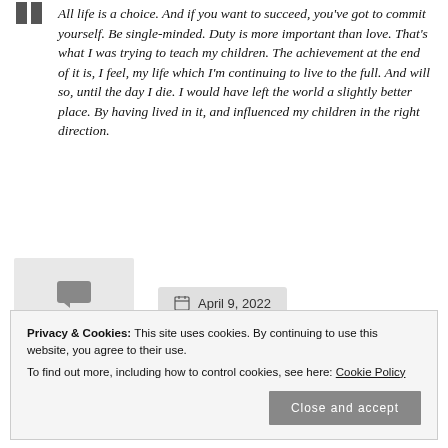All life is a choice. And if you want to succeed, you've got to commit yourself. Be single-minded. Duty is more important than love. That's what I was trying to teach my children. The achievement at the end of it is, I feel, my life which I'm continuing to live to the full. And will so, until the day I die. I would have left the world a slightly better place. By having lived in it, and influenced my children in the right direction.
Comment
April 9, 2022
Privacy & Cookies: This site uses cookies. By continuing to use this website, you agree to their use. To find out more, including how to control cookies, see here: Cookie Policy
Close and accept